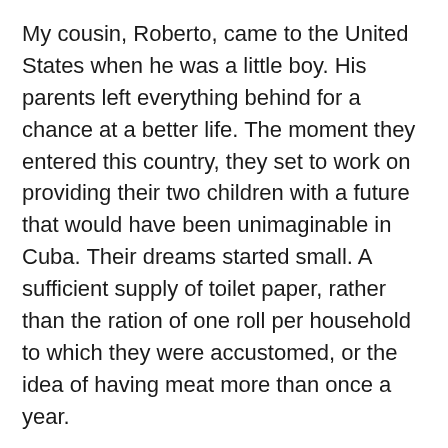My cousin, Roberto, came to the United States when he was a little boy. His parents left everything behind for a chance at a better life. The moment they entered this country, they set to work on providing their two children with a future that would have been unimaginable in Cuba. Their dreams started small. A sufficient supply of toilet paper, rather than the ration of one roll per household to which they were accustomed, or the idea of having meat more than once a year.
As they found jobs that provided more income per paycheck than they could make in a whole year, even at minimum wage, their dreams grew a little more. Now, with the peace of mind that their children would be able to attend school rather than being sent to work the fields, they allowed themselves to dream a little bigger. Perhaps, their